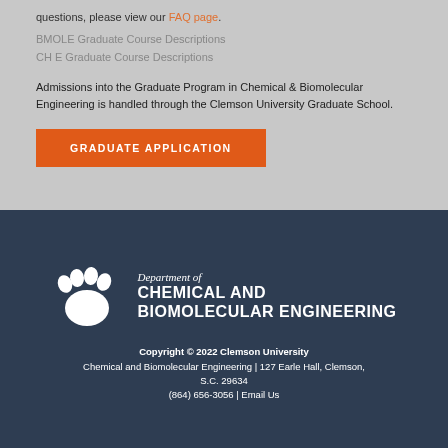questions, please view our FAQ page.
BMOLE Graduate Course Descriptions
CH E Graduate Course Descriptions
Admissions into the Graduate Program in Chemical & Biomolecular Engineering is handled through the Clemson University Graduate School.
GRADUATE APPLICATION
[Figure (logo): Clemson University paw print logo with Department of Chemical and Biomolecular Engineering text]
Copyright © 2022 Clemson University
Chemical and Biomolecular Engineering | 127 Earle Hall, Clemson, S.C. 29634
(864) 656-3056 | Email Us